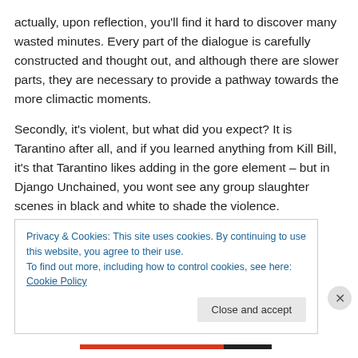actually, upon reflection, you'll find it hard to discover many wasted minutes. Every part of the dialogue is carefully constructed and thought out, and although there are slower parts, they are necessary to provide a pathway towards the more climactic moments.
Secondly, it's violent, but what did you expect? It is Tarantino after all, and if you learned anything from Kill Bill, it's that Tarantino likes adding in the gore element – but in Django Unchained, you wont see any group slaughter scenes in black and white to shade the violence.
Privacy & Cookies: This site uses cookies. By continuing to use this website, you agree to their use. To find out more, including how to control cookies, see here: Cookie Policy
Close and accept